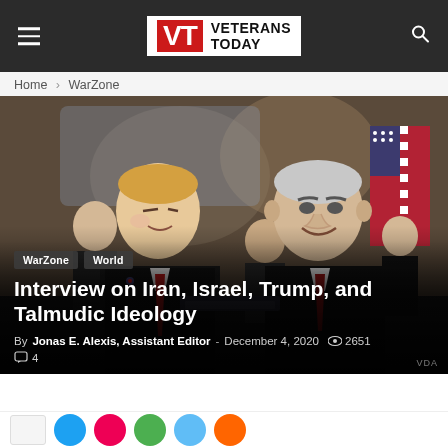Veterans Today
Home › WarZone
[Figure (photo): Two men in suits, one wearing a red tie on the left appearing to be Donald Trump, and the other on the right appearing to be Benjamin Netanyahu, shaking hands or gesturing in what looks like a formal White House setting. Other figures are visible in the background. Image is overlaid with article title and metadata.]
Interview on Iran, Israel, Trump, and Talmudic Ideology
By Jonas E. Alexis, Assistant Editor - December 4, 2020  👁 2651  💬 4